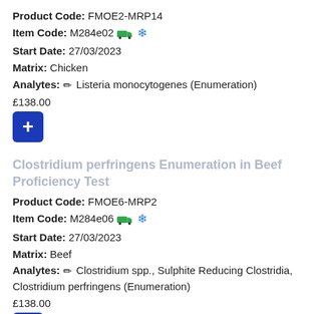Product Code: FMOE2-MRP14
Item Code: M284e02 [truck] [snowflake]
Start Date: 27/03/2023
Matrix: Chicken
Analytes: [pencil] Listeria monocytogenes (Enumeration)
£138.00
[Figure (other): Blue add button with + symbol]
Clostridium perfringens Enumeration in Beef Proficiency Test
Product Code: FMOE6-MRP2
Item Code: M284e06 [truck] [snowflake]
Start Date: 27/03/2023
Matrix: Beef
Analytes: [pencil] Clostridium spp., Sulphite Reducing Clostridia, Clostridium perfringens (Enumeration)
£138.00
[Figure (other): Blue add button with + symbol]